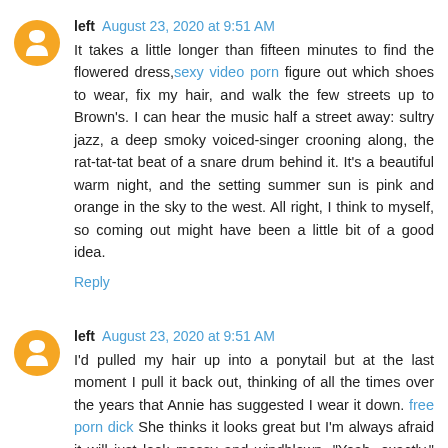left August 23, 2020 at 9:51 AM
It takes a little longer than fifteen minutes to find the flowered dress, sexy video porn figure out which shoes to wear, fix my hair, and walk the few streets up to Brown's. I can hear the music half a street away: sultry jazz, a deep smoky voiced-singer crooning along, the rat-tat-tat beat of a snare drum behind it. It's a beautiful warm night, and the setting summer sun is pink and orange in the sky to the west. All right, I think to myself, so coming out might have been a little bit of a good idea.
Reply
left August 23, 2020 at 9:51 AM
I'd pulled my hair up into a ponytail but at the last moment I pull it back out, thinking of all the times over the years that Annie has suggested I wear it down. free porn dick She thinks it looks great but I'm always afraid it will just look messy and windblown. "Yeah, exactly," she always says in response to my concern. "We call that 'just got shagged' hair style, love."